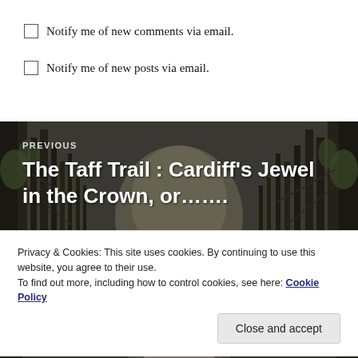Notify me of new comments via email.
Notify me of new posts via email.
[Figure (photo): Forest path with bare winter trees forming a tunnel, with text overlay: PREVIOUS / The Taff Trail : Cardiff's Jewel in the Crown, or.......]
Privacy & Cookies: This site uses cookies. By continuing to use this website, you agree to their use.
To find out more, including how to control cookies, see here: Cookie Policy
Close and accept